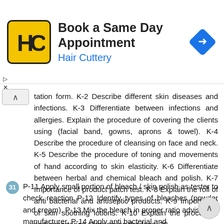[Figure (infographic): Hair Cuttery advertisement banner: yellow square logo with HC letters, text 'Book a Same Day Appointment' and 'Hair Cuttery', blue navigation diamond icon on the right]
tation form. K-2 Describe different skin diseases and infections. K-3 Differentiate between infections and allergies. Explain the procedure of covering the clients using (facial band, gowns, aprons & towel). K-4 Describe the procedure of cleansing on face and neck. K-5 Describe the procedure of toning and movements of hand according to skin elasticity. K-6 Differentiate between herbal and chemical bleach and polish. K-7 Importance of product patch test. K-8 Explain the roll of anti bacterial and antiseptic products. K-9 Importance of skin soothing lotions. K-10 Explain the procedure and importance of steaming the face. 30
31 P-11 Apply small portion of bleach / skin polish as tester to check reaction P-12 Identify types of bleaches (powder and cream). P-13 Mix the bleach in proper ratio advised by manufacturer. P-14 Apply anti bacterial and